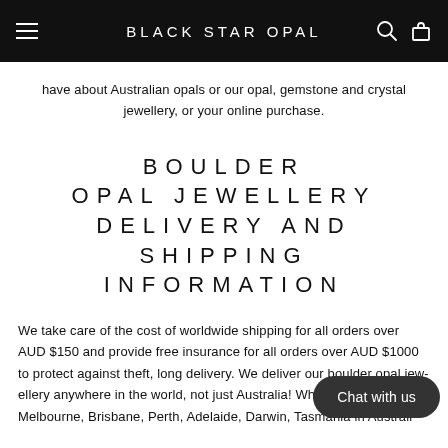BLACK STAR OPAL
have about Australian opals or our opal, gemstone and crystal jewellery, or your online purchase.
BOULDER OPAL JEWELLERY DELIVERY AND SHIPPING INFORMATION
We take care of the cost of worldwide shipping for all orders over AUD $150 and provide free insurance for all orders over AUD $1000 to protect against theft, lo... We deliver our boulder opal jew... in the world, not just Australia! Whether it's Sydney, Melbourne, Brisbane, Perth, Adelaide, Darwin, Tasmania in Australi...